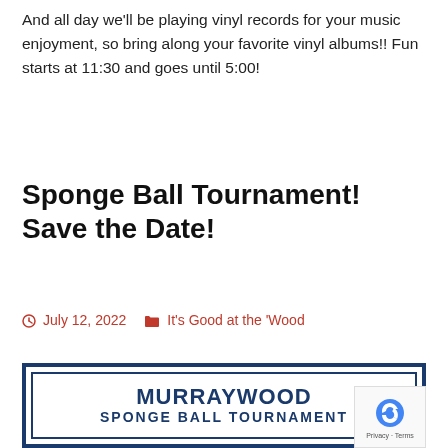And all day we'll be playing vinyl records for your music enjoyment, so bring along your favorite vinyl albums!! Fun starts at 11:30 and goes until 5:00!
Sponge Ball Tournament! Save the Date!
July 12, 2022   It's Good at the 'Wood
[Figure (illustration): Murraywood Sponge Ball Tournament logo — rectangular border with inner border, text 'MURRAYWOOD' in large blue uppercase letters, 'Sponge Ball Tournament' in smaller blue small-caps text below, and a partial tennis/sponge ball racquet graphic with colorful ball]